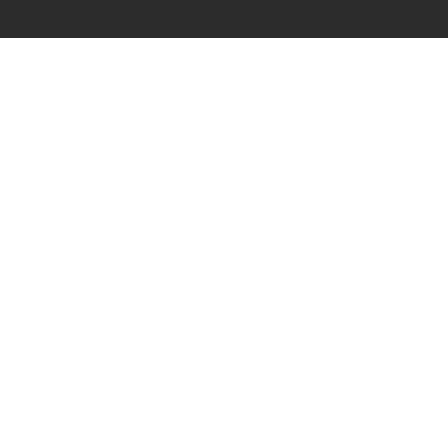[Figure (screenshot): Dark top navigation bar]
[Figure (infographic): Four contact/communication icons at the bottom: phone call (Gọi điện), SMS (Nhắn tin), Zalo chat (Chat zalo), Facebook Messenger (Facebook)]
Gọi điện
Nhắn tin
Chat zalo
Facebook